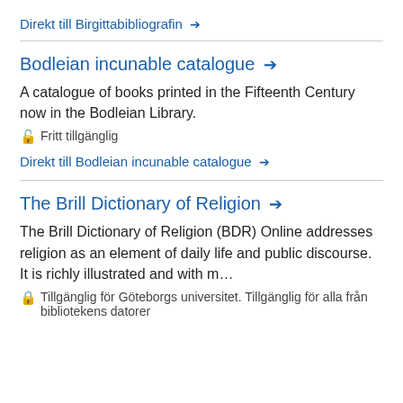Direkt till Birgittabibliografin →
Bodleian incunable catalogue →
A catalogue of books printed in the Fifteenth Century now in the Bodleian Library.
🔓 Fritt tillgänglig
Direkt till Bodleian incunable catalogue →
The Brill Dictionary of Religion →
The Brill Dictionary of Religion (BDR) Online addresses religion as an element of daily life and public discourse. It is richly illustrated and with m…
🔒 Tillgänglig för Göteborgs universitet. Tillgänglig för alla från bibliotekens datorer